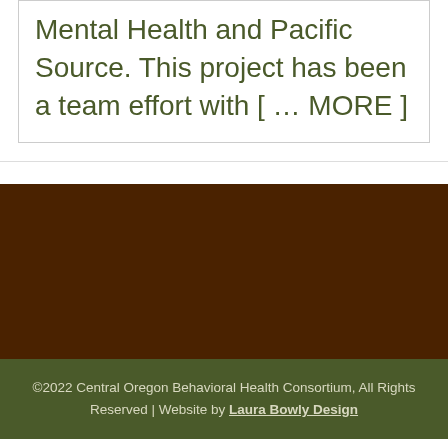Mental Health and Pacific Source. This project has been a team effort with [ … MORE ]
©2022 Central Oregon Behavioral Health Consortium, All Rights Reserved | Website by Laura Bowly Design